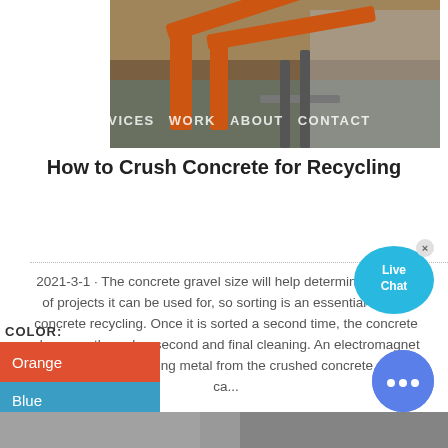[Figure (photo): Industrial concrete crushing machinery with orange conveyor belts and a large building in background]
SERVICES   WORK   ABOUT   CONTACT
How to Crush Concrete for Recycling
[Figure (infographic): Live Chat bubble icon in cyan/blue]
2021-3-1 · The concrete gravel size will help determine the type of projects it can be used for, so sorting is an essential step in concrete recycling. Once it is sorted a second time, the concrete also goes through a second and final cleaning. An electromagnet pulls out any remaining metal from the crushed concrete, which ca...
COLOR:
Orange
Blue
Yellow
[Figure (infographic): Blue circular chat button with three dots]
[Figure (photo): Bottom strip showing partial image]